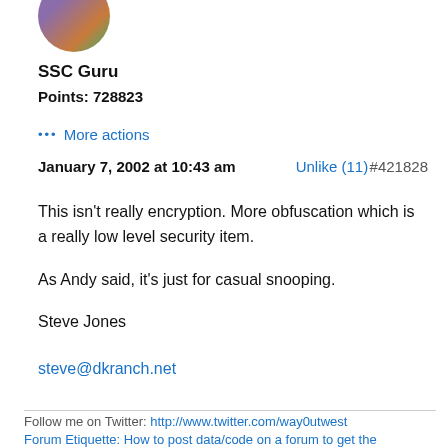[Figure (photo): Circular avatar photo of a person]
SSC Guru
Points: 728823
••• More actions
January 7, 2002 at 10:43 am    Unlike (11)    #421828
This isn't really encryption. More obfuscation which is a really low level security item.

As Andy said, it's just for casual snooping.

Steve Jones
steve@dkranch.net
Follow me on Twitter: http://www.twitter.com/way0utwest
Forum Etiquette: How to post data/code on a forum to get the